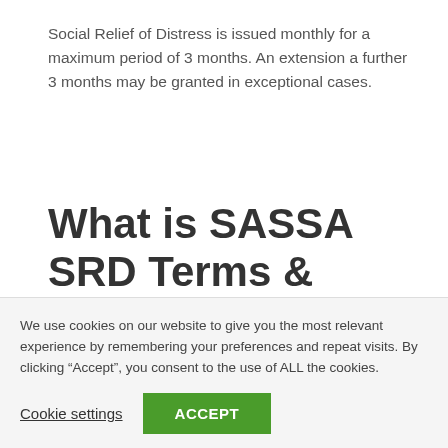Social Relief of Distress is issued monthly for a maximum period of 3 months. An extension a further 3 months may be granted in exceptional cases.
What is SASSA SRD Terms & Conditions
** Applications for the special Covid-19 Social Relief of Distress
We use cookies on our website to give you the most relevant experience by remembering your preferences and repeat visits. By clicking "Accept", you consent to the use of ALL the cookies.